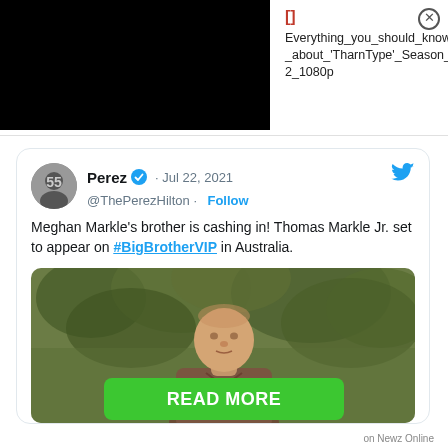[Figure (screenshot): Black video player box on left, with file name text on right showing bracket icon, close button, and filename: Everything_you_should_know_about_'TharnType'_Season_2_1080p]
Everything_you_should_know_about_'TharnType'_Season_2_1080p
[Figure (screenshot): Tweet card from Perez Hilton (@ThePerezHilton), Jul 22, 2021, with text: Meghan Markle's brother is cashing in! Thomas Markle Jr. set to appear on #BigBrotherVIP in Australia. Includes a photo of a middle-aged man standing outdoors among trees.]
READ MORE
on Newz Online